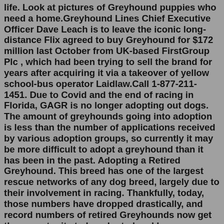life. Look at pictures of Greyhound puppies who need a home.Greyhound Lines Chief Executive Officer Dave Leach is to leave the iconic long-distance Flix agreed to buy Greyhound for $172 million last October from UK-based FirstGroup Plc , which had been trying to sell the brand for years after acquiring it via a takeover of yellow school-bus operator Laidlaw.Call 1-877-211-1451. Due to Covid and the end of racing in Florida, GAGR is no longer adopting out dogs. The amount of greyhounds going into adoption is less than the number of applications received by various adoption groups, so currently it may be more difficult to adopt a greyhound than it has been in the past. Adopting a Retired Greyhound. This breed has one of the largest rescue networks of any dog breed, largely due to their involvement in racing. Thankfully, today, those numbers have dropped drastically, and record numbers of retired Greyhounds now get the opportunity to be adopted and have real...These are some of the dogs that have passed through our kennel over the years - N.G.A.'s